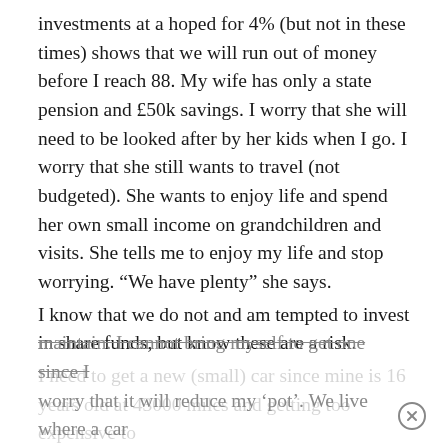investments at a hoped for 4% (but not in these times) shows that we will run out of money before I reach 88. My wife has only a state pension and £50k savings. I worry that she will need to be looked after by her kids when I go. I worry that she still wants to travel (not budgeted). She wants to enjoy life and spend her own small income on grandchildren and visits. She tells me to enjoy my life and stop worrying. “We have plenty” she says.
I know that we do not and am tempted to invest in share funds, but know these are a risk.
I need to get a new (small) car since mine is 16 years old at 43000 miles and getting too expensive to maintain. I cannot bring myself to get one since I worry that it will reduce my ‘pot’. We live where a car